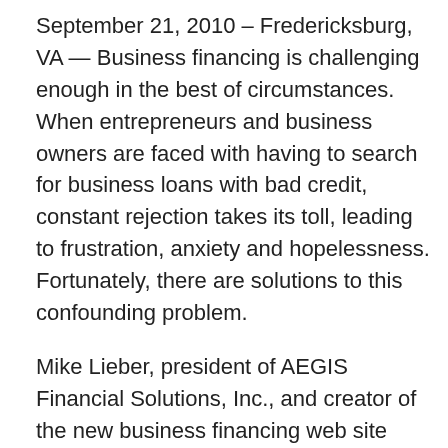September 21, 2010 – Fredericksburg, VA — Business financing is challenging enough in the best of circumstances. When entrepreneurs and business owners are faced with having to search for business loans with bad credit, constant rejection takes its toll, leading to frustration, anxiety and hopelessness. Fortunately, there are solutions to this confounding problem.
Mike Lieber, president of AEGIS Financial Solutions, Inc., and creator of the new business financing web site Smart-Business-Financing.Com (http://www.smart-business-financing.com), says businesses loans with bad credit are not only possible, they are done every day, despite the sour economy.
“We recently helped a retail shop owner with a credit score in low 500s open a line of credit to purchase inventory for the upcoming holidays. Getting business loans with bad